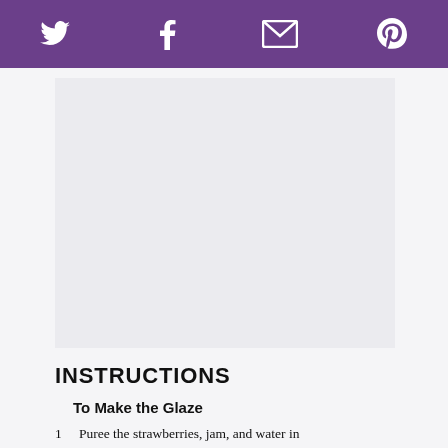Twitter Facebook Email Pinterest
[Figure (photo): Placeholder image area with light gray background]
INSTRUCTIONS
To Make the Glaze
1. Puree the strawberries, jam, and water in